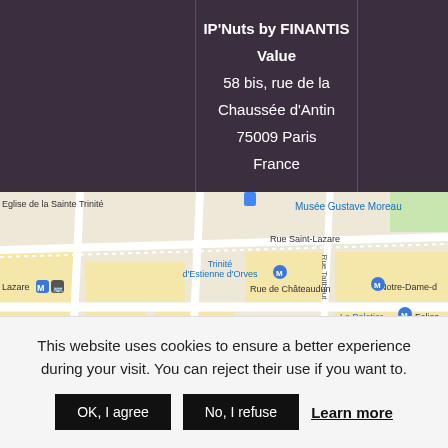IP'Nuts by FINANTIS Value
58 bis, rue de la Chaussée d'Antin
75009 Paris
France
[Figure (map): Google Maps view of the area around 58 bis, rue de la Chaussée d'Antin, 75009 Paris, France. Shows streets including Rue Saint-Lazare, Rue de Châteaudun, Haussmann Saint-Lazare, and metro stations including Trinité d'Estienne d'Orves, Le Peletier, Chaussée d'Antin La Fayette, Havre-Caumartin. Landmarks visible: Eglise de la Sainte Trinité, Musée Gustave Moreau, Neko Ramen.]
This website uses cookies to ensure a better experience during your visit. You can reject their use if you want to.
OK, I agree
No, I refuse
Learn more